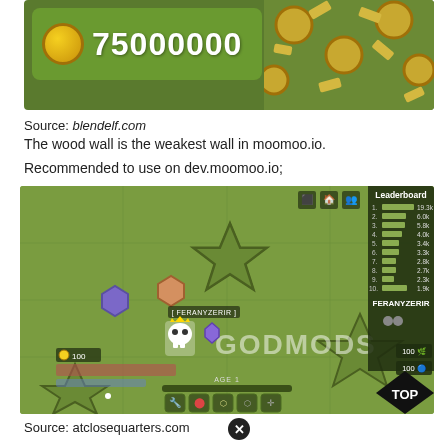[Figure (screenshot): Game screenshot showing score of 75000000 with coin icon and close button, with decorative hex pattern on right]
Source: blendelf.com
The wood wall is the weakest wall in moomoo.io.
Recommended to use on dev.moomoo.io;
[Figure (screenshot): moomoo.io gameplay screenshot showing leaderboard with FERANYZERIR, godmods watermark, player shapes, AGE 1 bar, game icons, and TOP diamond badge]
Source: atclosequarters.com